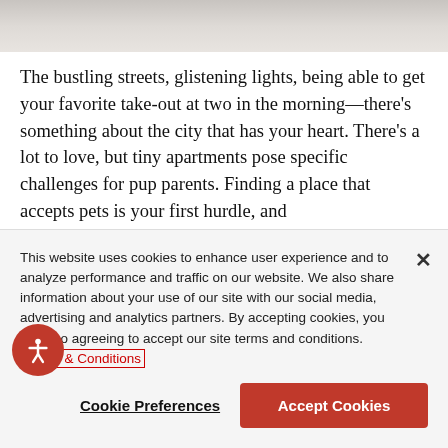[Figure (photo): Partial top portion of a photo, appears to show light-colored fur or fluffy texture]
The bustling streets, glistening lights, being able to get your favorite take-out at two in the morning—there's something about the city that has your heart. There's a lot to love, but tiny apartments pose specific challenges for pup parents. Finding a place that accepts pets is your first hurdle, and
This website uses cookies to enhance user experience and to analyze performance and traffic on our website. We also share information about your use of our site with our social media, advertising and analytics partners. By accepting cookies, you are also agreeing to accept our site terms and conditions. Terms & Conditions
Cookie Preferences
Accept Cookies